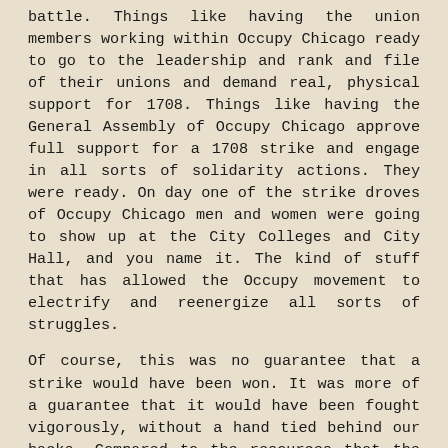battle. Things like having the union members working within Occupy Chicago ready to go to the leadership and rank and file of their unions and demand real, physical support for 1708. Things like having the General Assembly of Occupy Chicago approve full support for a 1708 strike and engage in all sorts of solidarity actions. They were ready. On day one of the strike droves of Occupy Chicago men and women were going to show up at the City Colleges and City Hall, and you name it. The kind of stuff that has allowed the Occupy movement to electrify and reenergize all sorts of struggles.
Of course, this was no guarantee that a strike would have been won. It was more of a guarantee that it would have been fought vigorously, without a hand tied behind our backs. Compared to the resources that the CFL could have wielded in a real fight in support of 1708, what we described above is modest. Yet its promise is powerful.
It is a tragedy that things ended up this way. The other unions currently negotiating with the CCC bosses have now a more uphill battle: AFSCME, SEIU and IBEW. Soon enough they will be joined by CCCLOC, representing the